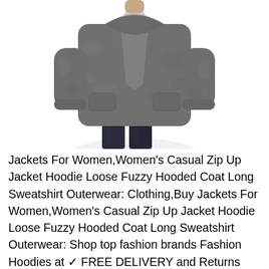[Figure (photo): A woman wearing a grey fuzzy hoodie zip-up long coat/jacket over dark jeans, shown from waist up. The garment is a loose, sherpa-style hooded coat.]
Jackets For Women,Women's Casual Zip Up Jacket Hoodie Loose Fuzzy Hooded Coat Long Sweatshirt Outerwear: Clothing,Buy Jackets For Women,Women's Casual Zip Up Jacket Hoodie Loose Fuzzy Hooded Coat Long Sweatshirt Outerwear: Shop top fashion brands Fashion Hoodies at ✓ FREE DELIVERY and Returns possible on eligible purchases,🛫🛫Standard Shipping usually takes 7-20 days to be delivered,Expedited